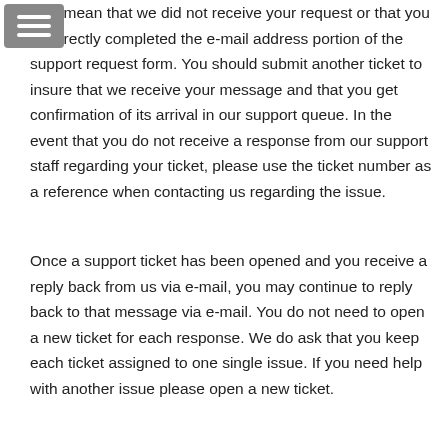may mean that we did not receive your request or that you incorrectly completed the e-mail address portion of the support request form. You should submit another ticket to insure that we receive your message and that you get confirmation of its arrival in our support queue. In the event that you do not receive a response from our support staff regarding your ticket, please use the ticket number as a reference when contacting us regarding the issue.
Once a support ticket has been opened and you receive a reply back from us via e-mail, you may continue to reply back to that message via e-mail. You do not need to open a new ticket for each response. We do ask that you keep each ticket assigned to one single issue. If you need help with another issue please open a new ticket.